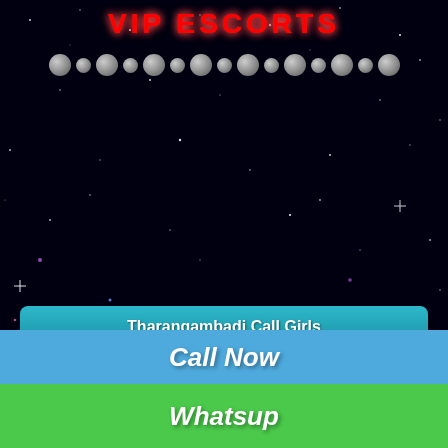VIP ESCORTS
Tharangambadi Call Girls
Tharangambadi Model Escorts
Tharangambadi Housewife Escorts
Tharangambadi Air-Hostess Escorts
Tharangambadi Celebrity Escorts
Tharangambadi Teen Escorts
Tharangambadi Punjabi Escorts
Tharangambadi VIP Escorts
Call Now
Whatsup